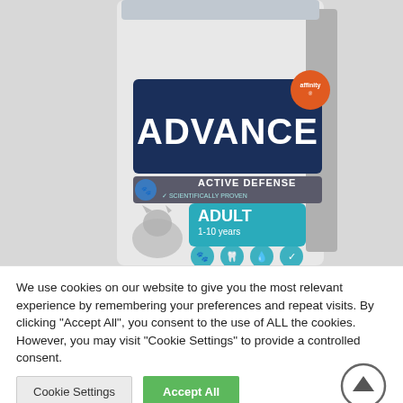[Figure (photo): Advance brand cat food bag — Adult 1-10 years, Active Defense, Scientifically Proven, with image of a cat on the front of the bag]
We use cookies on our website to give you the most relevant experience by remembering your preferences and repeat visits. By clicking “Accept All”, you consent to the use of ALL the cookies. However, you may visit "Cookie Settings" to provide a controlled consent.
Cookie Settings
Accept All